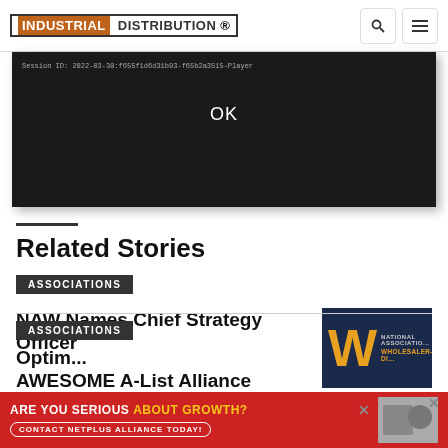INDUSTRIAL DISTRIBUTION
[Figure (screenshot): Dark dialog box showing a session ID string and an OK button]
Related Stories
ASSOCIATIONS
NAW Names Chief Strategy Officer
[Figure (logo): NAW National Association of Wholesaler-Distributors logo on dark navy background with large orange W letter]
ASSOCIATIONS
Optim... AWESOME A-List Alliance
[Figure (infographic): Red advertisement banner: ARE YOU SERIOUS ABOUT GROWTH? CONTACT NETPLUS ALLIANCE TODAY! with photo of people at trade show]